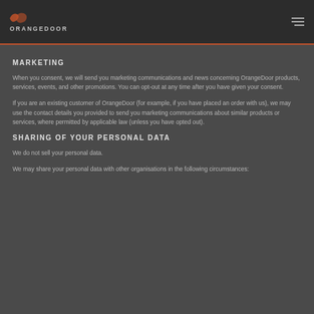ORANGEDOOR
MARKETING
When you consent, we will send you marketing communications and news concerning OrangeDoor products, services, events, and other promotions. You can opt-out at any time after you have given your consent.
If you are an existing customer of OrangeDoor (for example, if you have placed an order with us), we may use the contact details you provided to send you marketing communications about similar products or services, where permitted by applicable law (unless you have opted out).
SHARING OF YOUR PERSONAL DATA
We do not sell your personal data.
We may share your personal data with other organisations in the following circumstances: